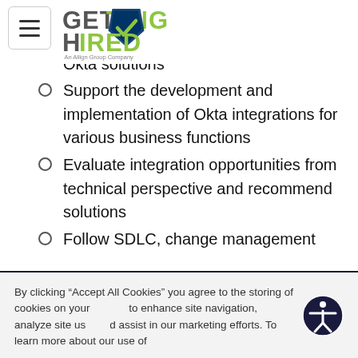[Figure (logo): Getting Hired logo - An Allign Group Company]
departm es
Perform case analysis to implement Okta solutions
Support the development and implementation of Okta integrations for various business functions
Evaluate integration opportunities from technical perspective and recommend solutions
Follow SDLC, change management and document the procedures on OKTA solution
Identify, track and resolve technical
By clicking “Accept All Cookies” you agree to the storing of cookies on your to enhance site navigation, analyze site us d assist in our marketing efforts. To learn more about our use of